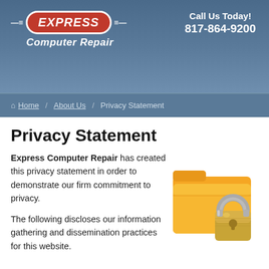[Figure (logo): Express Computer Repair logo with red oval badge, white wings, and italic text]
Call Us Today! 817-864-9200
Home / About Us / Privacy Statement
Privacy Statement
Express Computer Repair has created this privacy statement in order to demonstrate our firm commitment to privacy.
The following discloses our information gathering and dissemination practices for this website.
[Figure (illustration): Yellow folder with a gold padlock in front of it, representing secure/private data]